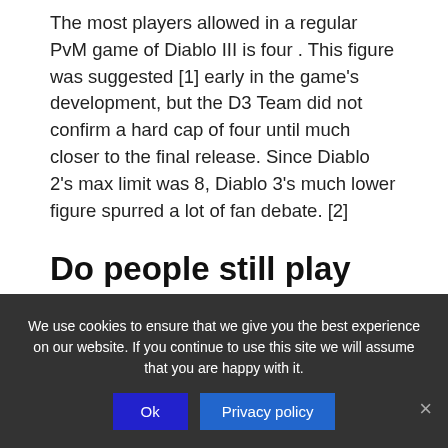The most players allowed in a regular PvM game of Diablo III is four . This figure was suggested [1] early in the game's development, but the D3 Team did not confirm a hard cap of four until much closer to the final release. Since Diablo 2's max limit was 8, Diablo 3's much lower figure spurred a lot of fan debate. [2]
Do people still play Diablo 3 on Xbox One?
We use cookies to ensure that we give you the best experience on our website. If you continue to use this site we will assume that you are happy with it.